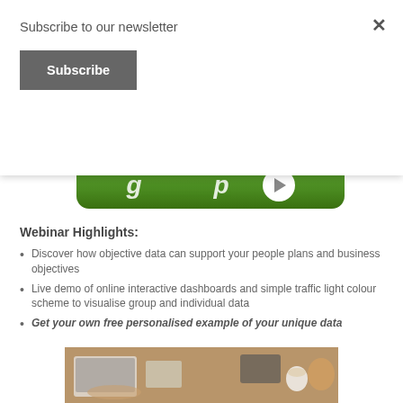Subscribe to our newsletter
Subscribe
[Figure (screenshot): Green rounded button/banner with white italic text and a white play circle button on the right, cropped at top]
Webinar Highlights:
Discover how objective data can support your people plans and business objectives
Live demo of online interactive dashboards and simple traffic light colour scheme to visualise group and individual data
Get your own free personalised example of your unique data
[Figure (photo): Photo of people working at a desk with laptops and documents, partially visible at the bottom of the page]